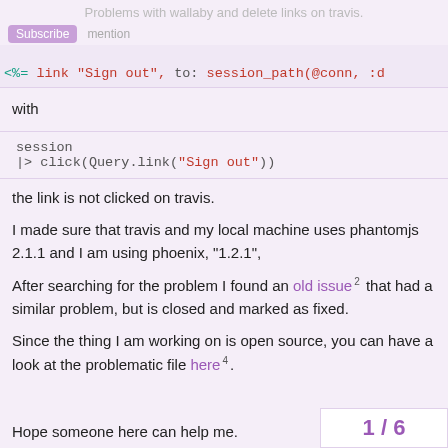Problems with wallaby and delete links on travis.
<%= link "Sign out", to: session_path(@conn, :d
with
session
|> click(Query.link("Sign out"))
the link is not clicked on travis.
I made sure that travis and my local machine uses phantomjs 2.1.1 and I am using phoenix, "1.2.1",
After searching for the problem I found an old issue 2 that had a similar problem, but is closed and marked as fixed.
Since the thing I am working on is open source, you can have a look at the problematic file here 4 .
Hope someone here can help me.
1 / 6